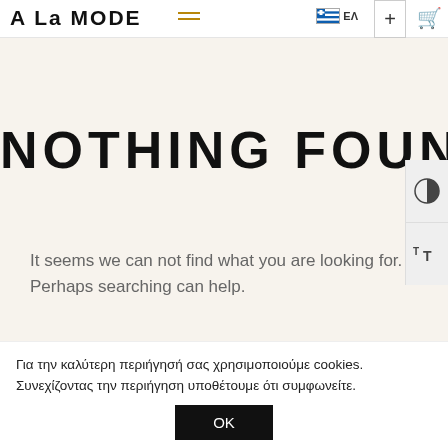A La MODE  ☰  ΕΛ  +  🛒
NOTHING FOUND
It seems we can not find what you are looking for. Perhaps searching can help.
Για την καλύτερη περιήγησή σας χρησιμοποιούμε cookies. Συνεχίζοντας την περιήγηση υποθέτουμε ότι συμφωνείτε.
OK